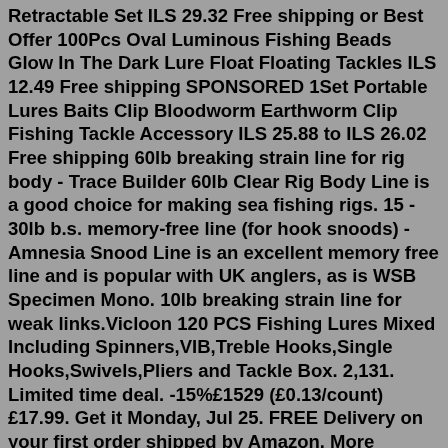Retractable Set ILS 29.32 Free shipping or Best Offer 100Pcs Oval Luminous Fishing Beads Glow In The Dark Lure Float Floating Tackles ILS 12.49 Free shipping SPONSORED 1Set Portable Lures Baits Clip Bloodworm Earthworm Clip Fishing Tackle Accessory ILS 25.88 to ILS 26.02 Free shipping 60lb breaking strain line for rig body - Trace Builder 60lb Clear Rig Body Line is a good choice for making sea fishing rigs. 15 - 30lb b.s. memory-free line (for hook snoods) - Amnesia Snood Line is an excellent memory free line and is popular with UK anglers, as is WSB Specimen Mono. 10lb breaking strain line for weak links.Vicloon 120 PCS Fishing Lures Mixed Including Spinners,VIB,Treble Hooks,Single Hooks,Swivels,Pliers and Tackle Box. 2,131. Limited time deal. -15%£1529 (£0.13/count) £17.99. Get it Monday, Jul 25. FREE Delivery on your first order shipped by Amazon. More buying choices.2. Daiwa D Trout Fly Rods. 3. SHAKESPEARE Omni Fly 7/8 WT Rod. 4. Lixada Fly Fishing Rod and Reel Combo. 5. Maximumcatch Extreme Fly Fishing Combo Kit.